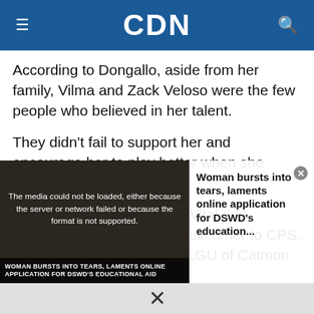CDN
According to Dongallo, aside from her family, Vilma and Zack Veloso were the few people who believed in her talent.
They didn't fail to support her and encourage her to play better when she enrolled with CPS.
She also thanked Dr. Obet Vital and Stephani Cholico, who recruited her to CPS. Dongallo also thanked the LGU of Catmon for its unwavering
[Figure (screenshot): Video player overlay showing error message: 'The media could not be loaded, either because the server or network failed or because the format is not supported.' Left side shows a thumbnail with caption 'WOMAN BURSTS INTO TEARS, LAMENTS ONLINE APPLICATION FOR DSWD'S EDUCATIONAL AID'. Right side shows text: 'Woman bursts into tears, laments online application for DSWD's education...' with a close (x) button. Bottom has an X close bar.]